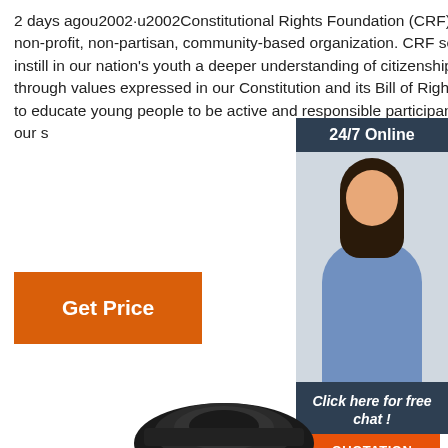2 days agou2002·u2002Constitutional Rights Foundation (CRF) is a non-profit, non-partisan, community-based organization. CRF seeks to instill in our nation's youth a deeper understanding of citizenship through values expressed in our Constitution and its Bill of Rights and to educate young people to be active and responsible participants in our s
[Figure (other): Get Price button — orange rectangular button with white text 'Get Price']
[Figure (infographic): 24/7 Online chat widget with dark blue header showing '24/7 Online', a photo of a smiling woman with headset, dark blue footer with italic text 'Click here for free chat !', and an orange QUOTATION button]
[Figure (photo): Partial image of a black mechanical device/camera lens at the bottom of the page]